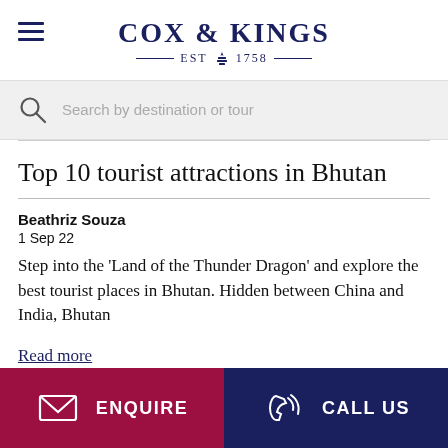COX & KINGS — EST 1758 —
Search by destination or tour
Top 10 tourist attractions in Bhutan
Beathriz Souza
1 Sep 22
Step into the 'Land of the Thunder Dragon' and explore the best tourist places in Bhutan. Hidden between China and India, Bhutan
Read more
ENQUIRE   CALL US